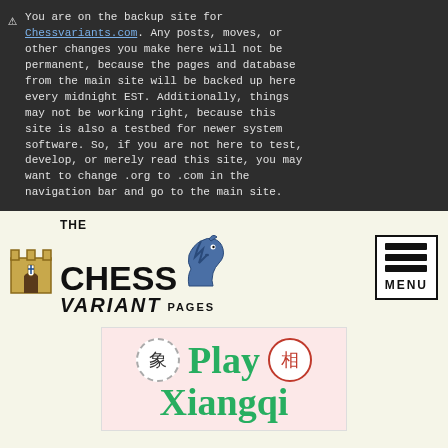⚠ You are on the backup site for Chessvariants.com. Any posts, moves, or other changes you make here will not be permanent, because the pages and database from the main site will be backed up here every midnight EST. Additionally, things may not be working right, because this site is also a testbed for newer system software. So, if you are not here to test, develop, or merely read this site, you may want to change .org to .com in the navigation bar and go to the main site.
[Figure (logo): The Chess Variant Pages logo with castle icon, horse/knight icon, and MENU button]
[Figure (illustration): Play Xiangqi advertisement banner with Chinese characters in circles and green text]